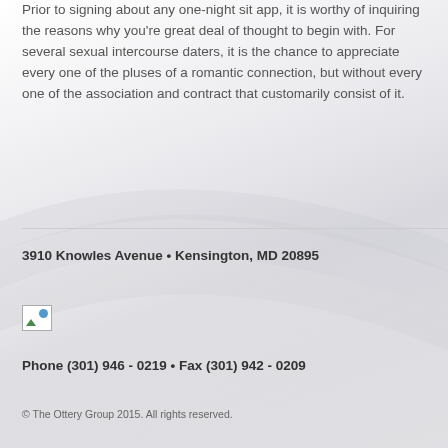Prior to signing about any one-night sit app, it is worthy of inquiring the reasons why you're great deal of thought to begin with. For several sexual intercourse daters, it is the chance to appreciate every one of the pluses of a romantic connection, but without every one of the association and contract that customarily consist of it.
3910 Knowles Avenue • Kensington, MD 20895
[Figure (photo): Small broken image placeholder icon]
Phone (301) 946 - 0219 • Fax (301) 942 - 0209
© The Ottery Group 2015. All rights reserved.